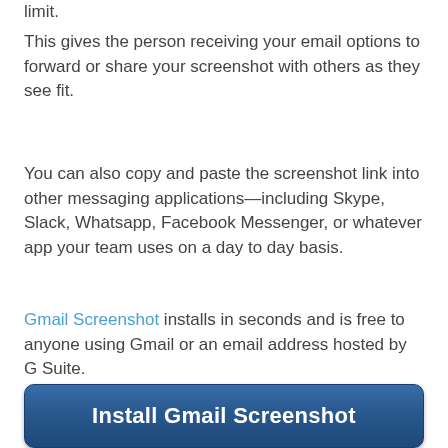limit.
This gives the person receiving your email options to forward or share your screenshot with others as they see fit.
You can also copy and paste the screenshot link into other messaging applications—including Skype, Slack, Whatsapp, Facebook Messenger, or whatever app your team uses on a day to day basis.
Gmail Screenshot installs in seconds and is free to anyone using Gmail or an email address hosted by G Suite.
[Figure (screenshot): A blue button labeled 'Install Gmail Screenshot']